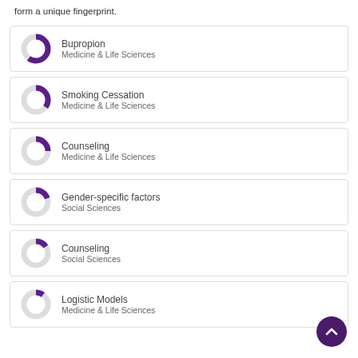form a unique fingerprint.
[Figure (donut-chart): Donut chart showing high fill (approx 85%) in purple for Bupropion]
[Figure (donut-chart): Donut chart showing approx 60% fill in purple for Smoking Cessation]
[Figure (donut-chart): Donut chart showing approx 50% fill in purple for Counseling]
[Figure (donut-chart): Donut chart showing approx 45% fill in purple for Gender-specific factors]
[Figure (donut-chart): Donut chart showing approx 40% fill in purple for Counseling Social Sciences]
[Figure (donut-chart): Donut chart showing approx 35% fill in purple for Logistic Models]